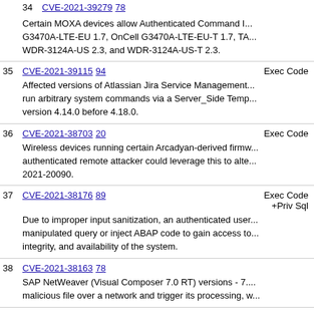34 CVE-2021-39279 78
Certain MOXA devices allow Authenticated Command I... G3470A-LTE-EU 1.7, OnCell G3470A-LTE-EU-T 1.7, TA... WDR-3124A-US 2.3, and WDR-3124A-US-T 2.3.
35 CVE-2021-39115 94 Exec Code
Affected versions of Atlassian Jira Service Management... run arbitrary system commands via a Server_Side Temp... version 4.14.0 before 4.18.0.
36 CVE-2021-38703 20 Exec Code
Wireless devices running certain Arcadyan-derived firmw... authenticated remote attacker could leverage this to alte... 2021-20090.
37 CVE-2021-38176 89 Exec Code +Priv Sql
Due to improper input sanitization, an authenticated user... manipulated query or inject ABAP code to gain access to... integrity, and availability of the system.
38 CVE-2021-38163 78
SAP NetWeaver (Visual Composer 7.0 RT) versions - 7.... malicious file over a network and trigger its processing, w...